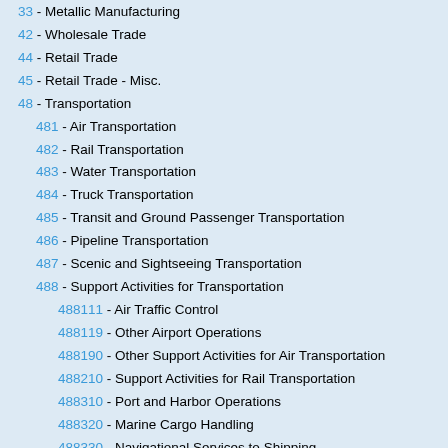33 - Metallic Manufacturing
42 - Wholesale Trade
44 - Retail Trade
45 - Retail Trade - Misc.
48 - Transportation
481 - Air Transportation
482 - Rail Transportation
483 - Water Transportation
484 - Truck Transportation
485 - Transit and Ground Passenger Transportation
486 - Pipeline Transportation
487 - Scenic and Sightseeing Transportation
488 - Support Activities for Transportation
488111 - Air Traffic Control
488119 - Other Airport Operations
488190 - Other Support Activities for Air Transportation
488210 - Support Activities for Rail Transportation
488310 - Port and Harbor Operations
488320 - Marine Cargo Handling
488330 - Navigational Services to Shipping